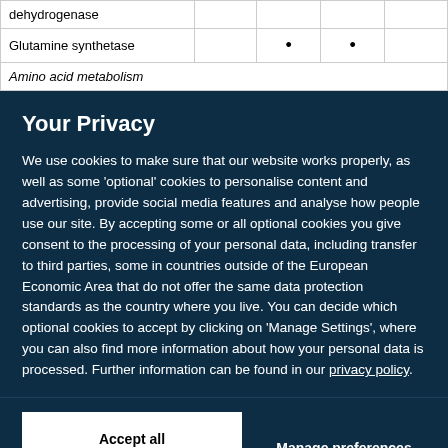| dehydrogenase |  |  |  |  |
| Glutamine synthetase |  | • | • |  |
| Amino acid metabolism |  |  |  |  |
Your Privacy
We use cookies to make sure that our website works properly, as well as some 'optional' cookies to personalise content and advertising, provide social media features and analyse how people use our site. By accepting some or all optional cookies you give consent to the processing of your personal data, including transfer to third parties, some in countries outside of the European Economic Area that do not offer the same data protection standards as the country where you live. You can decide which optional cookies to accept by clicking on 'Manage Settings', where you can also find more information about how your personal data is processed. Further information can be found in our privacy policy.
Accept all cookies | Manage preferences